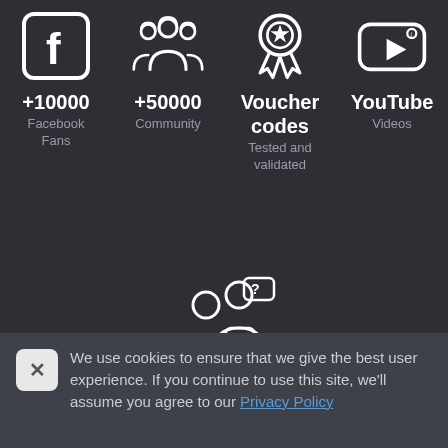[Figure (infographic): Four icons in a row: Facebook logo (f in rounded square), community/group of people icon, award/badge icon, YouTube-style video player icon]
+10000
Facebook Fans
+50000
Community
Voucher codes
Tested and validated
YouTube
Videos
[Figure (illustration): Customer service icon showing two people with speech bubbles containing question mark and checkmark]
Customer service
24/7 available
We use cookies to ensure that we give the best user experience. If you continue to use this site, we'll assume you agree to our Privacy Policy